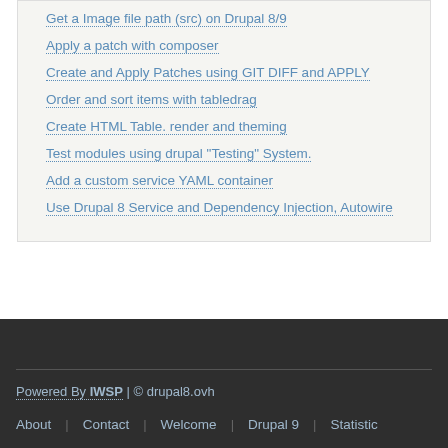Get a Image file path (src) on Drupal 8/9
Apply a patch with composer
Create and Apply Patches using GIT DIFF and APPLY
Order and sort items with tabledrag
Create HTML Table. render and theming
Test modules using drupal "Testing" System.
Add a custom service YAML container
Use Drupal 8 Service and Dependency Injection, Autowire
Powered By IWSP | © drupal8.ovh  About | Contact | Welcome | Drupal 9 | Statistic